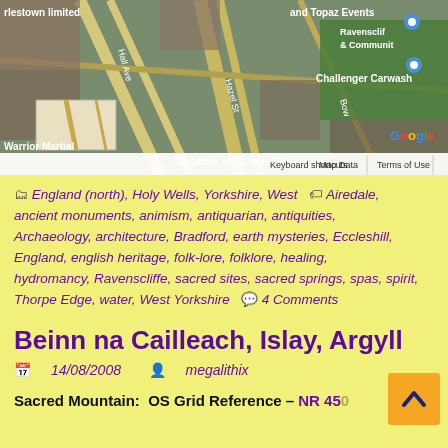[Figure (map): Google Maps satellite/aerial view showing streets including Hall Ave, Hazel Street, Bower Road area in Yorkshire. Labels visible: 'rlestown limited', 'and Topaz Events', 'Ravensclif & Communit', 'Challenger Carwash', 'Genesis at Studio 38', 'Warrior Martial'. Mini inset map bottom-left. Google logo. Bottom bar: 'Keyboard shortcuts', 'Map Data', 'Terms of Use'.]
England (north), Holy Wells, Yorkshire, West  Airedale, ancient monuments, animism, antiquarian, antiquities, Archaeology, architecture, Bradford, earth mysteries, Eccleshill, England, english heritage, folk-lore, folklore, healing, hydromancy, Ravenscliffe, sacred sites, sacred springs, spas, spirit, Thorpe Edge, water, West Yorkshire  4 Comments
Beinn na Cailleach, Islay, Argyll
14/08/2008  megalithix
Sacred Mountain:  OS Grid Reference – NR 45…